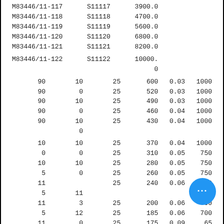| M83446/11-117 | S11117 | 3900.0 |
| M83446/11-118 | S11118 | 4700.0 |
| M83446/11-119 | S11119 | 5600.0 |
| M83446/11-120 | S11120 | 6800.0 |
| M83446/11-121 | S11121 | 8200.0 |
| M83446/11-122 | S11122 | 10000.0 |
| 90 | 10 | 25 | 600 | 0.03 | 1000 |
| 90 | 0 | 25 | 520 | 0.03 | 1000 |
| 90 | 10 | 25 | 490 | 0.03 | 1000 |
| 90 | 0 | 25 | 460 | 0.04 | 1000 |
| 90 | 10 0 | 25 | 430 | 0.04 | 1000 |
| 10 | 10 | 25 | 370 | 0.04 | 1000 |
| 0 | 0 | 25 | 310 | 0.05 | 750 |
| 10 | 10 | 25 | 280 | 0.05 | 750 |
| 5 | 0 | 25 | 260 | 0.05 | 750 |
| 11 5 | 11 | 25 | 240 | 0.06 | 700 |
| 11 5 | 3 | 25 | 200 | 0.06 | 700 |
| 5 | 12 | 25 | 185 | 0.06 | 700 |
| 11 5 | 0 | 25 | 175 | 0.09 | 65... |
| 5 | 13 | 7.9 | 150 | 0.09 | 65... |
|  | 0 | 7.9 | 135 | 0.14 | 600 |